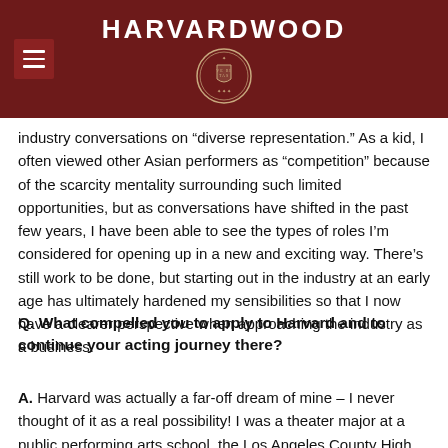HARVARDWOOD
industry conversations on “diverse representation.” As a kid, I often viewed other Asian performers as “competition” because of the scarcity mentality surrounding such limited opportunities, but as conversations have shifted in the past few years, I have been able to see the types of roles I’m considered for opening up in a new and exciting way. There’s still work to be done, but starting out in the industry at an early age has ultimately hardened my sensibilities so that I now have a clearer perspective when approaching the industry as a business.
Q. What compelled you to apply to Harvard and to continue your acting journey there?
A. Harvard was actually a far-off dream of mine – I never thought of it as a real possibility! I was a theater major at a public performing arts school, the Los Angeles County High